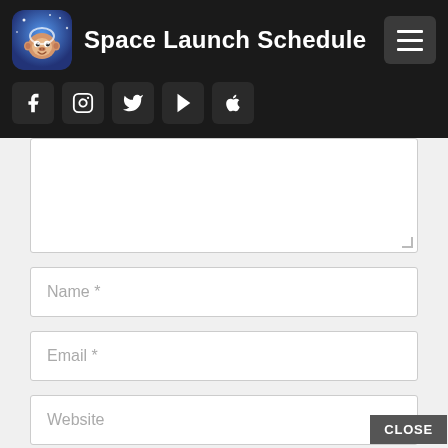Space Launch Schedule
[Figure (screenshot): Website header with logo, title 'Space Launch Schedule', hamburger menu button, and social media icons (Facebook, Instagram, Twitter, Google Play, Apple)]
Name *
Email *
Website